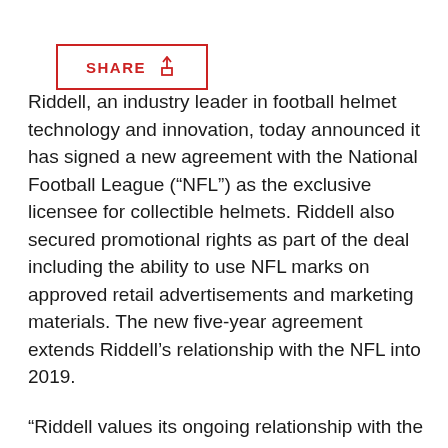[Figure (other): SHARE button with upload/share icon, outlined in red]
Riddell, an industry leader in football helmet technology and innovation, today announced it has signed a new agreement with the National Football League (“NFL”) as the exclusive licensee for collectible helmets. Riddell also secured promotional rights as part of the deal including the ability to use NFL marks on approved retail advertisements and marketing materials. The new five-year agreement extends Riddell’s relationship with the NFL into 2019.
“Riddell values its ongoing relationship with the NFL, and we are proud of our longstanding history as the helmet of choice for the majority of NFL players,” said Dan Arment, President of Riddell. “We remain steadfast in our pursuit of developing innovative